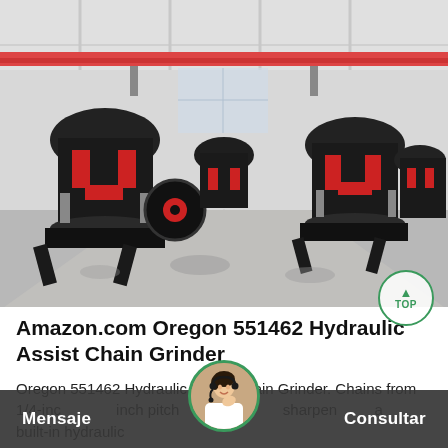[Figure (photo): Factory floor with rows of large black and red industrial cone crusher machines lined up in a warehouse with a red overhead crane and concrete floor.]
Amazon.com Oregon 551462 Hydraulic Assist Chain Grinder
Oregon 551462 Hydraulic Assist Chain Grinder. Chains from 1/4-inch to 3/4-inch pitch can be quickly sharpened to a built-in hydraulic pressure that sharpen chain to a...